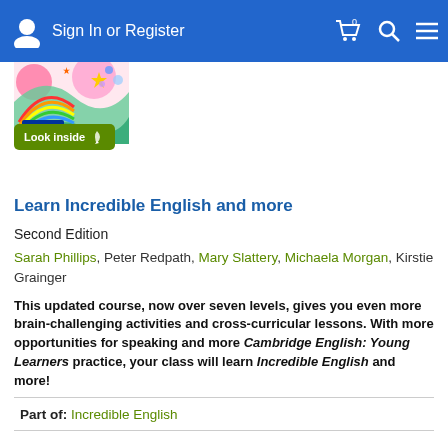Sign In or Register
[Figure (illustration): Colorful Oxford book cover with rainbows and a 'Look inside' green button below]
Learn Incredible English and more
Second Edition
Sarah Phillips, Peter Redpath, Mary Slattery, Michaela Morgan, Kirstie Grainger
This updated course, now over seven levels, gives you even more brain-challenging activities and cross-curricular lessons. With more opportunities for speaking and more Cambridge English: Young Learners practice, your class will learn Incredible English and more!
Part of: Incredible English